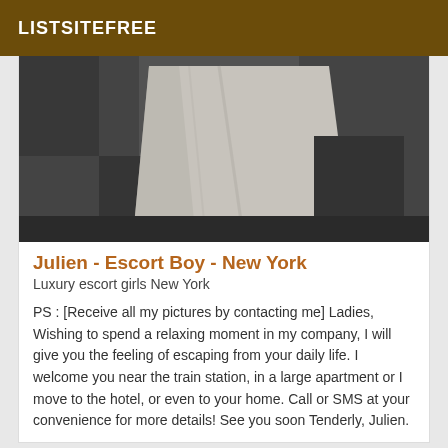LISTSITEFREE
[Figure (photo): Black and white photo of a white pillow on a dark bed/couch in a room corner]
Julien - Escort Boy - New York
Luxury escort girls New York
PS : [Receive all my pictures by contacting me] Ladies, Wishing to spend a relaxing moment in my company, I will give you the feeling of escaping from your daily life. I welcome you near the train station, in a large apartment or I move to the hotel, or even to your home. Call or SMS at your convenience for more details! See you soon Tenderly, Julien.